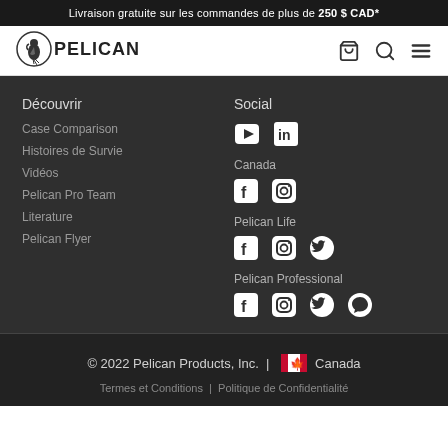Livraison gratuite sur les commandes de plus de 250 $ CAD*
[Figure (logo): Pelican logo with pelican bird icon and PELICAN wordmark]
Découvrir
Case Comparison
Histoires de Survie
Vidéos
Pelican Pro Team
Literature
Pelican Flyer
Social
Canada — Facebook, Instagram
Pelican Life — Facebook, Instagram, Twitter
Pelican Professional — Facebook, Instagram, Twitter, Chat
© 2022 Pelican Products, Inc. | Canada
Termes et Conditions | Politique de Confidentialité